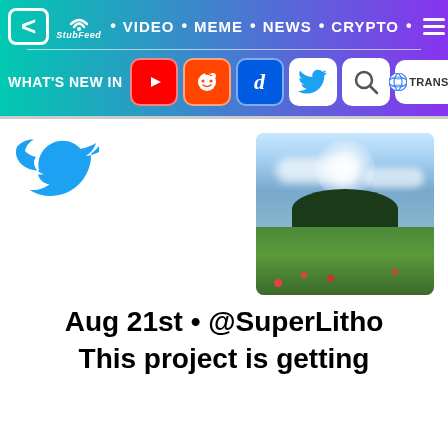StubFeed • VIDEO • MEME • NEWS • CRYPTO
WHAT'S NEW IN [YouTube] [Reddit] [Digg] [Twitter] [Search] [G Translate]
[Figure (screenshot): A blurred landscape photo showing a green field with flowers, a dark island or hill in the background, dramatic blue sky with bright sunlight]
Aug 21st • @SuperLitho
This project is getting